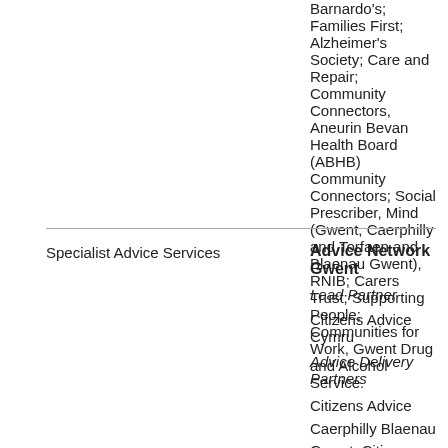Barnardo's; Families First; Alzheimer's Society; Care and Repair; Community Connectors, Aneurin Bevan Health Board (ABHB) Community Connectors; Social Prescriber, Mind (Gwent, Caerphilly and Torfaen and Blaenau Gwent), RNIB; Carers Trust; Supporting People; Communities for Work, Gwent Drug and Alcohol Service.
| Category | Details |
| --- | --- |
| Specialist Advice Services | Advice Network Gwent

Lead Partner

Citizens Advice Cymru

Advice Delivery Partners

Citizens Advice Caerphilly Blaenau Gwent; Citizens Advice Monmouthshire, Citizens Advice Newport; Citizens Advice Torfaen; Shelter Cymru; SNAP Cymru |